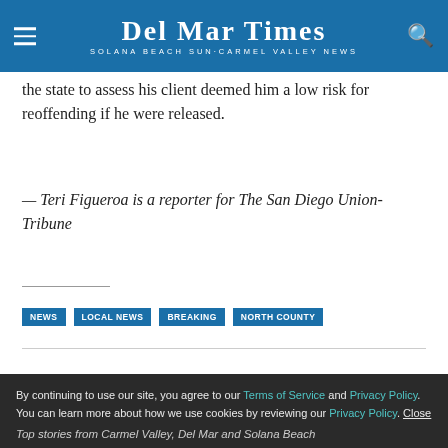Del Mar Times — Solana Beach Sun·Carmel Valley News
the state to assess his client deemed him a low risk for reoffending if he were released.
— Teri Figueroa is a reporter for The San Diego Union-Tribune
NEWS
LOCAL NEWS
BREAKING
NORTH COUNTY
By continuing to use our site, you agree to our Terms of Service and Privacy Policy. You can learn more about how we use cookies by reviewing our Privacy Policy. Close
Top stories from Carmel Valley, Del Mar and Solana Beach